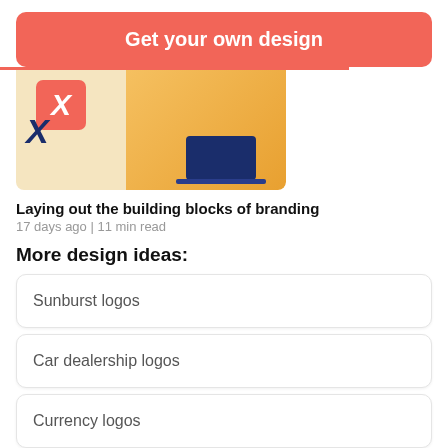Get your own design
[Figure (illustration): Illustration of a person in orange jacket writing, with a laptop, and an X brand logo in orange and blue]
Laying out the building blocks of branding
17 days ago | 11 min read
More design ideas:
Sunburst logos
Car dealership logos
Currency logos